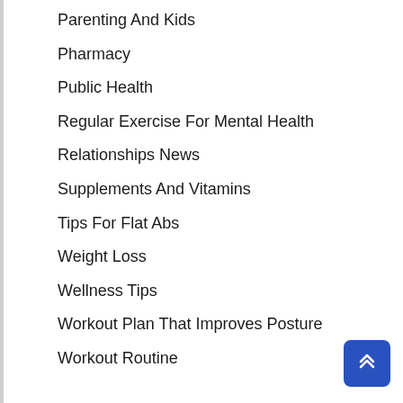Parenting And Kids
Pharmacy
Public Health
Regular Exercise For Mental Health
Relationships News
Supplements And Vitamins
Tips For Flat Abs
Weight Loss
Wellness Tips
Workout Plan That Improves Posture
Workout Routine